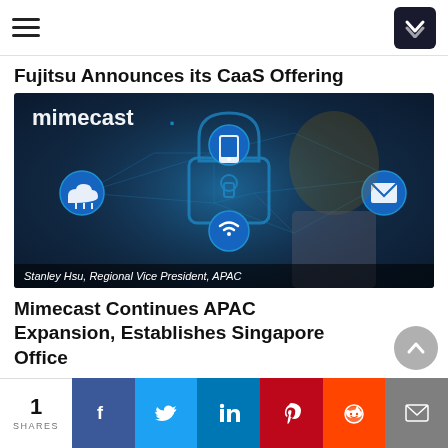Navigation bar with hamburger menu and dropdown button
Fujitsu Announces its CaaS Offering
[Figure (photo): Mimecast promotional image featuring Stanley Hsu, Regional Vice President, APAC, standing in front of a digital cybersecurity padlock graphic with connected icons including cloud, mobile, wifi, and email. The Mimecast logo is displayed in the upper left.]
Stanley Hsu, Regional Vice President, APAC
Mimecast Continues APAC Expansion, Establishes Singapore Office